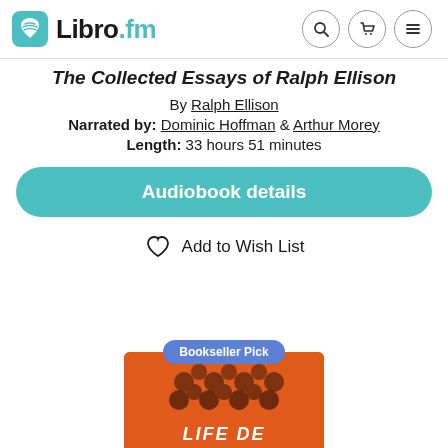Libro.fm
The Collected Essays of Ralph Ellison
By Ralph Ellison
Narrated by: Dominic Hoffman & Arthur Morey
Length: 33 hours 51 minutes
Audiobook details
Add to Wish List
[Figure (photo): Orange book cover with Bookseller Pick badge, showing partial cover art with text]